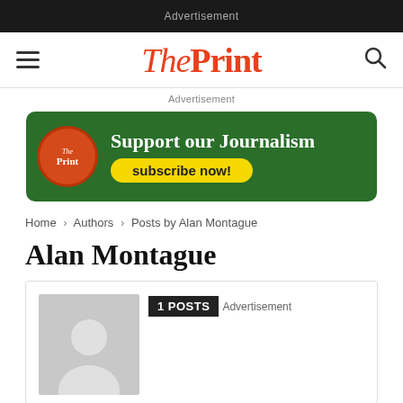Advertisement
[Figure (logo): ThePrint logo with hamburger menu and search icon navigation bar]
Advertisement
[Figure (infographic): ThePrint subscription banner: Support our Journalism – subscribe now!]
Home › Authors › Posts by Alan Montague
Alan Montague
[Figure (infographic): Author profile card with avatar silhouette, 1 POSTS badge, and Advertisement label]